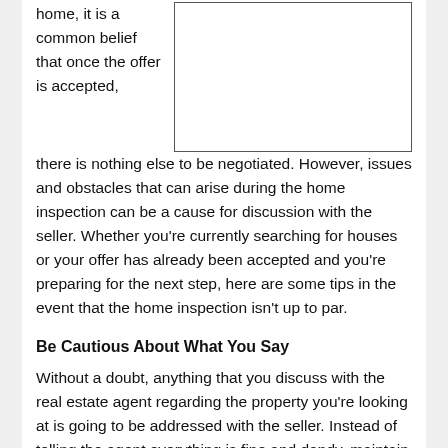home, it is a common belief that once the offer is accepted, there is nothing else to be negotiated. However, issues and obstacles that can arise during the home inspection can be a cause for discussion with the seller. Whether you're currently searching for houses or your offer has already been accepted and you're preparing for the next step, here are some tips in the event that the home inspection isn't up to par.
[Figure (photo): Image placeholder box (empty white rectangle with border)]
Be Cautious About What You Say
Without a doubt, anything that you discuss with the real estate agent regarding the property you're looking at is going to be addressed with the seller. Instead of telling the agent everything is fine and dandy, maintain a poker face with any deficiencies in the home so you can assess them after the inspection. While you all may think the agent...